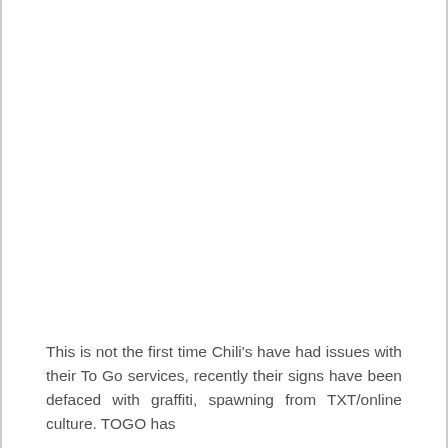This is not the first time Chili's have had issues with their To Go services, recently their signs have been defaced with graffiti, spawning from TXT/online culture. TOGO has